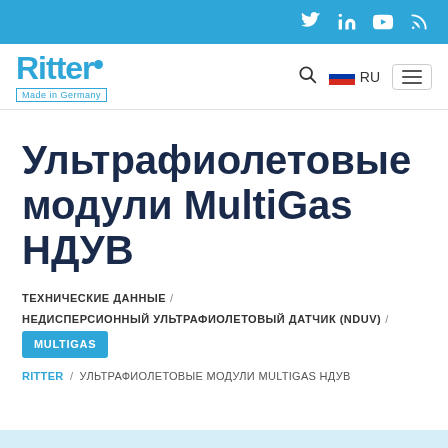Social bar with Twitter, LinkedIn, YouTube, RSS icons
[Figure (logo): Ritter Made in Germany logo in blue]
Ультрафиолетовые модули MultiGas НДУВ
ТЕХНИЧЕСКИЕ ДАННЫЕ / НЕДИСПЕРСИОННЫЙ УЛЬТРАФИОЛЕТОВЫЙ ДАТЧИК (NDUV) / MULTIGAS
RITTER / УЛЬТРАФИОЛЕТОВЫЕ МОДУЛИ MULTIGAS НДУВ